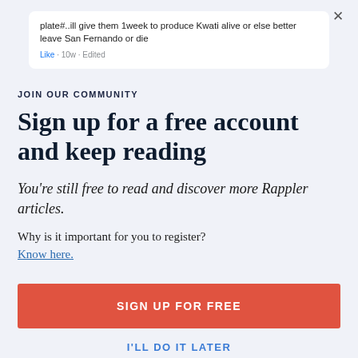[Figure (screenshot): Facebook comment screenshot showing text: 'plate#..ill give them 1week to produce Kwati alive or else better leave San Fernando or die' with metadata 'Like · 10w · Edited']
JOIN OUR COMMUNITY
Sign up for a free account and keep reading
You're still free to read and discover more Rappler articles.
Why is it important for you to register?
Know here.
SIGN UP FOR FREE
I'LL DO IT LATER